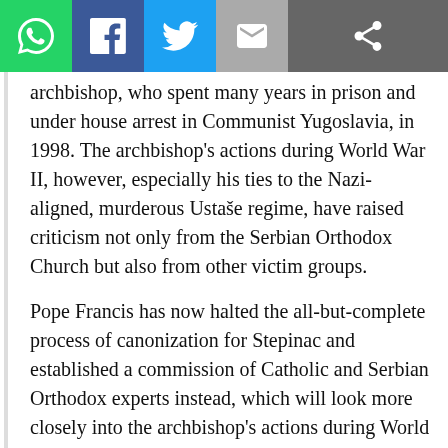Social share toolbar: WhatsApp, Facebook, Twitter, Email, Share
archbishop, who spent many years in prison and under house arrest in Communist Yugoslavia, in 1998. The archbishop's actions during World War II, however, especially his ties to the Nazi-aligned, murderous Ustaše regime, have raised criticism not only from the Serbian Orthodox Church but also from other victim groups.
Pope Francis has now halted the all-but-complete process of canonization for Stepinac and established a commission of Catholic and Serbian Orthodox experts instead, which will look more closely into the archbishop's actions during World War II.
It appears this is being done out of deference to the Serbian